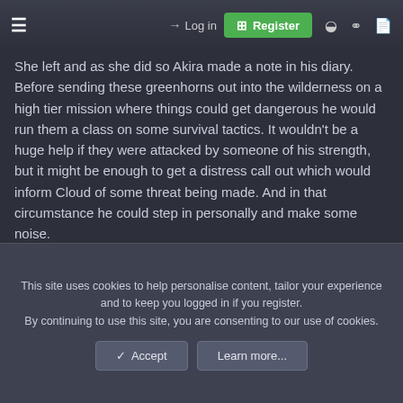≡  →  Log in   ⊞ Register  ◐  ♀  🗋
She left and as she did so Akira made a note in his diary. Before sending these greenhorns out into the wilderness on a high tier mission where things could get dangerous he would run them a class on some survival tactics. It wouldn't be a huge help if they were attacked by someone of his strength, but it might be enough to get a distress call out which would inform Cloud of some threat being made. And in that circumstance he could step in personally and make some noise.
And if they came up against someone half-way between himself and them then perhaps the training would give them enough edge to make sure one of them got away.
This site uses cookies to help personalise content, tailor your experience and to keep you logged in if you register. By continuing to use this site, you are consenting to our use of cookies. ✓ Accept  Learn more...